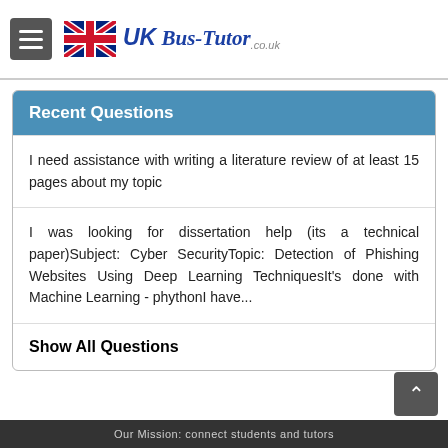[Figure (logo): UK BusTutor logo with UK flag, hamburger menu icon, and stylized text 'UK Bus-Tutor.co.uk']
Recent Questions
I need assistance with writing a literature review of at least 15 pages about my topic
I was looking for dissertation help (its a technical paper)Subject: Cyber SecurityTopic: Detection of Phishing Websites Using Deep Learning TechniquesIt's done with Machine Learning - phythonI have...
Show All Questions
Our Mission: connect students and tutors